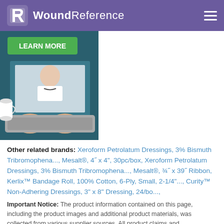WoundReference
[Figure (photo): Screenshot of a telehealth consultation showing a person typing on a laptop with a doctor visible on the screen, and a green 'LEARN MORE' button overlaid at the top.]
Other related brands: Xeroform Petrolatum Dressings, 3% Bismuth Tribromophena..., Mesalt®, 4˝ x 4", 30pc/box, Xeroform Petrolatum Dressings, 3% Bismuth Tribromophena..., Mesalt®, ¾˝ x 39˝ Ribbon, Kerlix™ Bandage Roll, 100% Cotton, 6-Ply, Small, 2-1/4"..., Curity™ Non-Adhering Dressings, 3" x 8" Dressing, 24/bo...,
Important Notice: The product information contained on this page, including the product images and additional product materials, was collected from various supplier sources. All product claims and specifications are those of the product suppliers. Every effort has been made to ensure the accuracy of the product